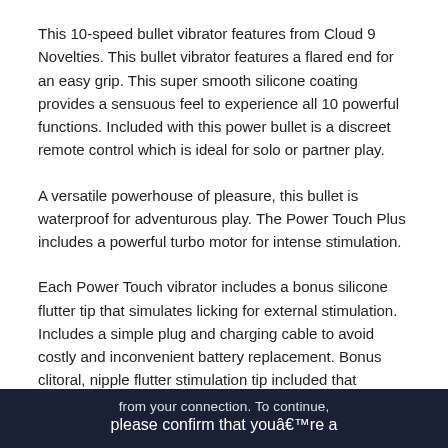This 10-speed bullet vibrator features from Cloud 9 Novelties. This bullet vibrator features a flared end for an easy grip. This super smooth silicone coating provides a sensuous feel to experience all 10 powerful functions. Included with this power bullet is a discreet remote control which is ideal for solo or partner play.
A versatile powerhouse of pleasure, this bullet is waterproof for adventurous play. The Power Touch Plus includes a powerful turbo motor for intense stimulation.
Each Power Touch vibrator includes a bonus silicone flutter tip that simulates licking for external stimulation. Includes a simple plug and charging cable to avoid costly and inconvenient battery replacement. Bonus clitoral, nipple flutter stimulation tip included that simulates a licking sensation.
Features:
from your connection. To continue, please confirm that youâre a